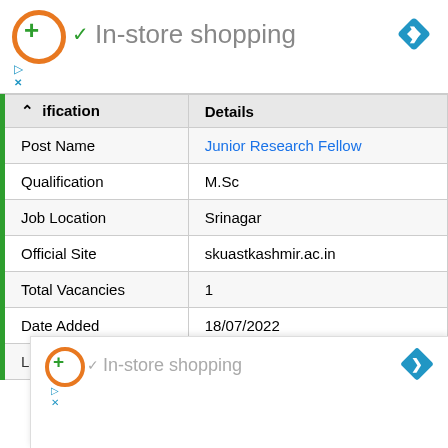[Figure (screenshot): In-store shopping ad banner with orange ring logo, green checkmark, gray text, and blue diamond navigation icon]
| Qualification | Details |
| --- | --- |
| Post Name | Junior Research Fellow |
| Qualification | M.Sc |
| Job Location | Srinagar |
| Official Site | skuastkashmir.ac.in |
| Total Vacancies | 1 |
| Date Added | 18/07/2022 |
| Last Date to Apply | 22/07/2022 |
[Figure (screenshot): Duplicate smaller In-store shopping ad overlay at bottom of page]